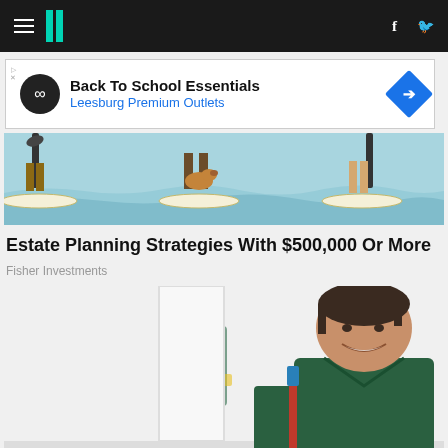HuffPost navigation bar with hamburger menu, logo, Facebook and Twitter icons
[Figure (screenshot): Advertisement banner: Back To School Essentials - Leesburg Premium Outlets with infinity logo and blue diamond arrow icon]
[Figure (photo): Illustration of people and a dog standing on paddle boards on water, viewed from waist down]
Estate Planning Strategies With $500,000 Or More
Fisher Investments
[Figure (photo): Photo of a smiling woman in green scrubs holding a red and blue mop, with another person in the background also in green scrubs and yellow gloves]